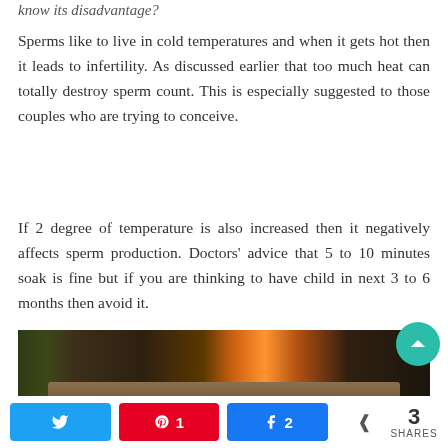know its disadvantage?
Sperms like to live in cold temperatures and when it gets hot then it leads to infertility. As discussed earlier that too much heat can totally destroy sperm count. This is especially suggested to those couples who are trying to conceive.
If 2 degree of temperature is also increased then it negatively affects sperm production. Doctors' advice that 5 to 10 minutes soak is fine but if you are thinking to have child in next 3 to 6 months then avoid it.
[Figure (photo): Outdoor fireplace with fire burning, stone surround, patio furniture and foliage in background]
Twitter share button, Pinterest 1 share, Facebook 2 shares, 3 SHARES total